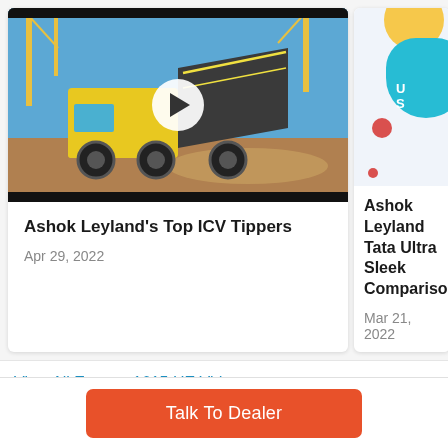[Figure (screenshot): Video thumbnail showing a yellow Ashok Leyland ICV tipper truck on a dusty construction site with a play button overlay]
Ashok Leyland's Top ICV Tippers
Apr 29, 2022
[Figure (screenshot): Partial card showing colorful graphic with yellow circle, blue rounded shape with text, and red circles — for Ashok Leyland vs Tata Ultra Sleek Comparison video]
Ashok Leyland Tata Ultra Sleek Comparison
Mar 21, 2022
View All Ecomet 1615 HE Videos
Talk To Dealer